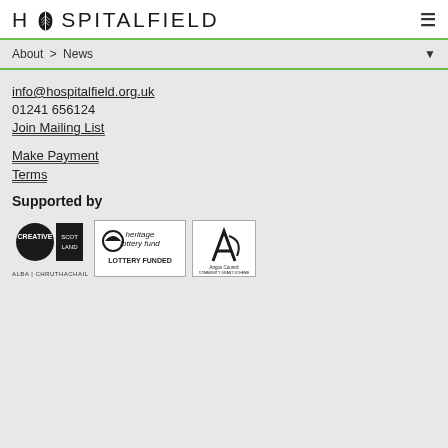HOSPITALFIELD
About > News
info@hospitalfield.org.uk
01241 656124
Join Mailing List
Make Payment
Terms
Supported by
[Figure (logo): Creative Scotland logo (black circle with CREATIVE text and SCOTLAND text), Heritage Lottery Fund logo, Angus Council Community Grant Scheme logo]
ALBA | CHRUTHACHAIL